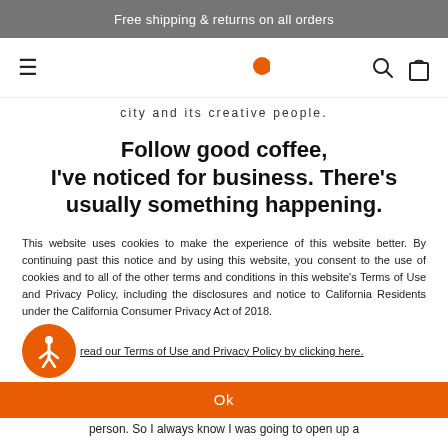Free shipping & returns on all orders
[Figure (logo): Orange Pac-Man style logo with three orange circular shapes (two Pac-Man faces and one dot)]
city and its creative people.
Follow good coffee, I've noticed for business. There's usually something happening.
This website uses cookies to make the experience of this website better. By continuing past this notice and by using this website, you consent to the use of cookies and to all of the other terms and conditions in this website's Terms of Use and Privacy Policy, including the disclosures and notice to California Residents under the California Consumer Privacy Act of 2018.
read our Terms of Use and Privacy Policy by clicking here.
Ok
person. So I always know I was going to open up a